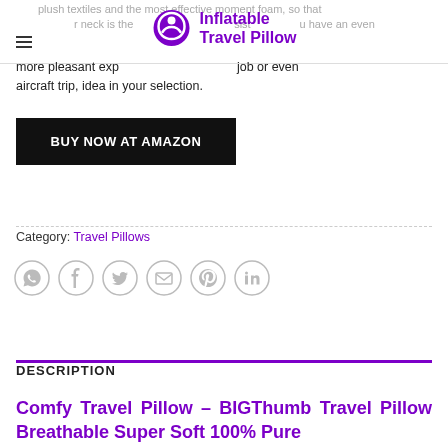plush textiles and the most effective moment foam, so that your neck is the consistent and you have an even more pleasant experience whether a road trip job or even aircraft trip, idea in your selection.
[Figure (logo): Purple circular logo with person silhouette and text 'Inflatable Travel Pillow']
BUY NOW AT AMAZON
Category: Travel Pillows
[Figure (infographic): Row of 6 social media share icons: WhatsApp, Facebook, Twitter, Email, Pinterest, LinkedIn]
DESCRIPTION
Comfy Travel Pillow – BIGThumb Travel Pillow Breathable Super Soft 100% Pure